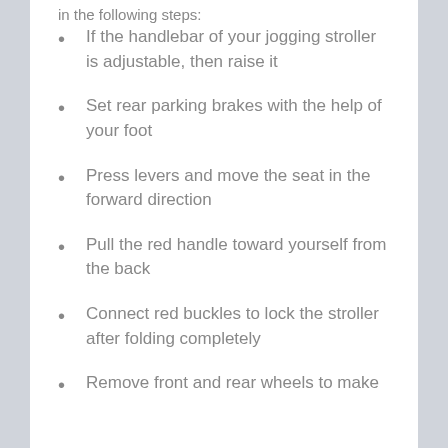in the following steps:
If the handlebar of your jogging stroller is adjustable, then raise it
Set rear parking brakes with the help of your foot
Press levers and move the seat in the forward direction
Pull the red handle toward yourself from the back
Connect red buckles to lock the stroller after folding completely
Remove front and rear wheels to make